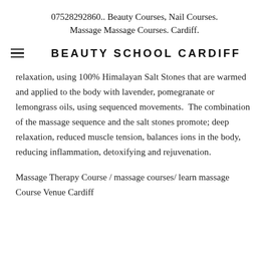07528292860.. Beauty Courses, Nail Courses. Massage Massage Courses. Cardiff.
BEAUTY SCHOOL CARDIFF
relaxation, using 100% Himalayan Salt Stones that are warmed and applied to the body with lavender, pomegranate or lemongrass oils, using sequenced movements.  The combination of the massage sequence and the salt stones promote; deep relaxation, reduced muscle tension, balances ions in the body, reducing inflammation, detoxifying and rejuvenation.
Massage Therapy Course / massage courses/ learn massage
Course Venue Cardiff